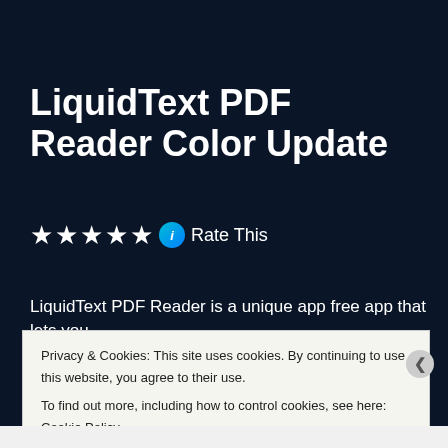LiquidText PDF Reader Color Update
★★★★★ ⓘ Rate This
LiquidText PDF Reader is a unique app free app that lets you
Privacy & Cookies: This site uses cookies. By continuing to use this website, you agree to their use.
To find out more, including how to control cookies, see here: Cookie Policy
Close and accept